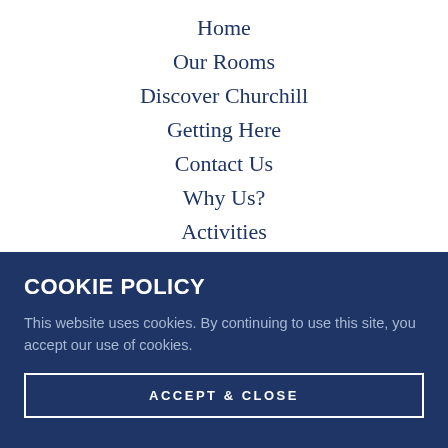Home
Our Rooms
Discover Churchill
Getting Here
Contact Us
Why Us?
Activities
COOKIE POLICY
This website uses cookies. By continuing to use this site, you accept our use of cookies.
ACCEPT & CLOSE